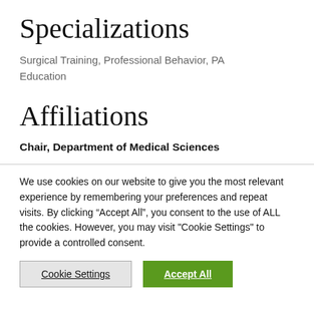Specializations
Surgical Training, Professional Behavior, PA Education
Affiliations
Chair, Department of Medical Sciences
We use cookies on our website to give you the most relevant experience by remembering your preferences and repeat visits. By clicking “Accept All”, you consent to the use of ALL the cookies. However, you may visit "Cookie Settings" to provide a controlled consent.
Cookie Settings
Accept All